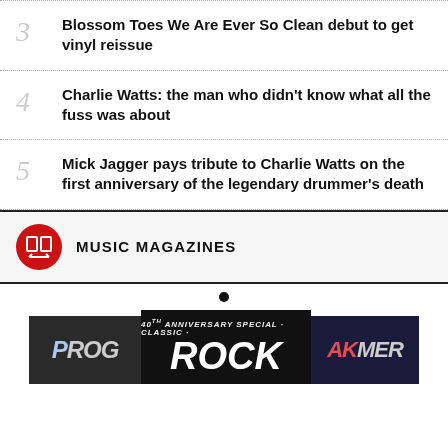3  Blossom Toes We Are Ever So Clean debut to get vinyl reissue
4  Charlie Watts: the man who didn't know what all the fuss was about
5  Mick Jagger pays tribute to Charlie Watts on the first anniversary of the legendary drummer's death
MUSIC MAGAZINES
[Figure (photo): Music magazine covers including Prog, Classic Rock, and Hammer magazines displayed in a carousel]